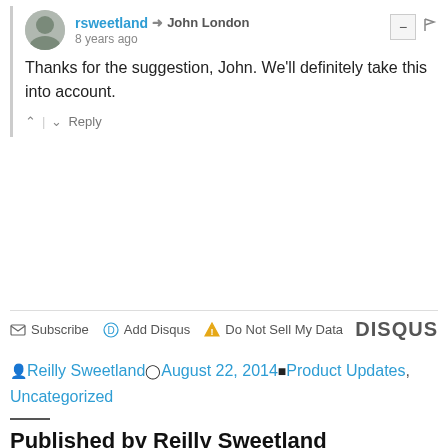rsweetland → John London
8 years ago
Thanks for the suggestion, John. We'll definitely take this into account.
↑ | ↓  Reply
✉ Subscribe  ● Add Disqus  ▲ Do Not Sell My Data   DISQUS
👤 Reilly Sweetland 🕐 August 22, 2014 🏷 Product Updates, Uncategorized
Published by Reilly Sweetland